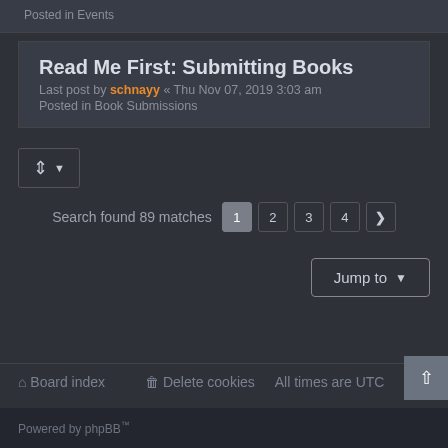Posted in Events
Read Me First: Submitting Books
Last post by schnayy « Thu Nov 07, 2019 3:03 am
Posted in Book Submissions
[Figure (screenshot): Sort/filter button with dropdown arrow]
Search found 89 matches  1  2  3  4  >
Jump to
Board index   Delete cookies   All times are UTC
Powered by phpBB™